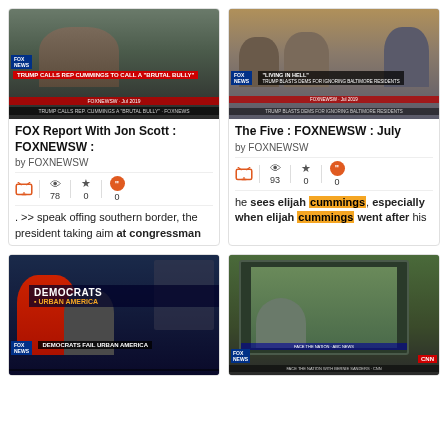[Figure (screenshot): Fox News screenshot: Trump calls Rep. Cummings a brutal bully, man speaking at microphone]
FOX Report With Jon Scott : FOXNEWSW :
by FOXNEWSW
78 views, 0 stars, 0 quotes
. >> speak offing southern border, the president taking aim at congressman
[Figure (screenshot): Fox News screenshot: Living in Hell - Trump blasts Dems for ignoring Baltimore residents, panel discussion]
The Five : FOXNEWSW : July
by FOXNEWSW
93 views, 0 stars, 0 quotes
he sees elijah cummings, especially when elijah cummings went after his
[Figure (screenshot): Fox News screenshot: Democrats Fail Urban America, woman in red on left]
[Figure (screenshot): CNN screenshot: Face the Nation with Bernie Sanders on screen]